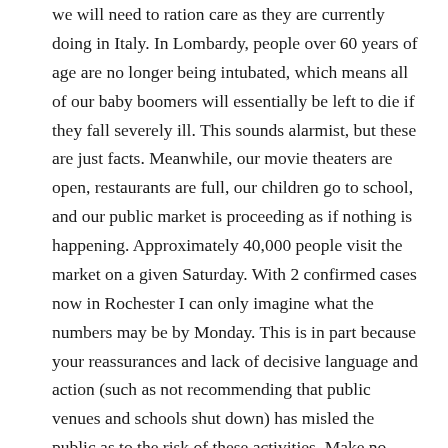we will need to ration care as they are currently doing in Italy. In Lombardy, people over 60 years of age are no longer being intubated, which means all of our baby boomers will essentially be left to die if they fall severely ill. This sounds alarmist, but these are just facts. Meanwhile, our movie theaters are open, restaurants are full, our children go to school, and our public market is proceeding as if nothing is happening. Approximately 40,000 people visit the market on a given Saturday. With 2 confirmed cases now in Rochester I can only imagine what the numbers may be by Monday. This is in part because your reassurances and lack of decisive language and action (such as not recommending that public venues and schools shut down) has misled the public as to the risk of these activities. Make no mistake – transmission of Covid-19 is happening in all these contexts and will continue to occur. Recognizing this fact, most universities and